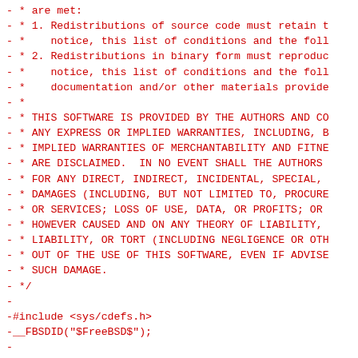- * are met:
- * 1. Redistributions of source code must retain t
- *    notice, this list of conditions and the foll
- * 2. Redistributions in binary form must reproduc
- *    notice, this list of conditions and the foll
- *    documentation and/or other materials provide
- *
- * THIS SOFTWARE IS PROVIDED BY THE AUTHORS AND CO
- * ANY EXPRESS OR IMPLIED WARRANTIES, INCLUDING, B
- * IMPLIED WARRANTIES OF MERCHANTABILITY AND FITNE
- * ARE DISCLAIMED.  IN NO EVENT SHALL THE AUTHORS
- * FOR ANY DIRECT, INDIRECT, INCIDENTAL, SPECIAL,
- * DAMAGES (INCLUDING, BUT NOT LIMITED TO, PROCURE
- * OR SERVICES; LOSS OF USE, DATA, OR PROFITS; OR
- * HOWEVER CAUSED AND ON ANY THEORY OF LIABILITY,
- * LIABILITY, OR TORT (INCLUDING NEGLIGENCE OR OTH
- * OUT OF THE USE OF THIS SOFTWARE, EVEN IF ADVISE
- * SUCH DAMAGE.
- */
-
-#include <sys/cdefs.h>
-__FBSDID("$FreeBSD$");
-
-#include <sys/param.h>
-#include <errno.h>
-#include <paths.h>
-#include <stdio.h>
-#include <stdlib.h>
-#include <stdint.h>
-#include <string.h>